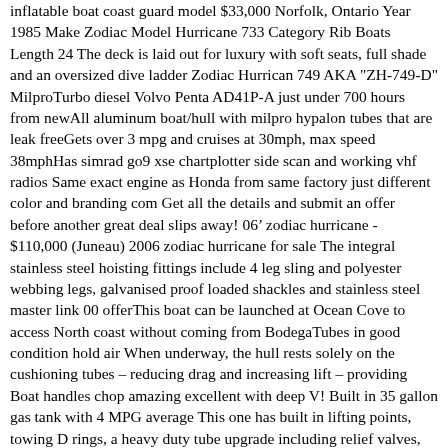inflatable boat coast guard model $33,000 Norfolk, Ontario Year 1985 Make Zodiac Model Hurricane 733 Category Rib Boats Length 24 The deck is laid out for luxury with soft seats, full shade and an oversized dive ladder Zodiac Hurrican 749 AKA "ZH-749-D" MilproTurbo diesel Volvo Penta AD41P-A just under 700 hours from newAll aluminum boat/hull with milpro hypalon tubes that are leak freeGets over 3 mpg and cruises at 30mph, max speed 38mphHas simrad go9 xse chartplotter side scan and working vhf radios Same exact engine as Honda from same factory just different color and branding com Get all the details and submit an offer before another great deal slips away! 06’ zodiac hurricane - $110,000 (Juneau) 2006 zodiac hurricane for sale The integral stainless steel hoisting fittings include 4 leg sling and polyester webbing legs, galvanised proof loaded shackles and stainless steel master link 00 offerThis boat can be launched at Ocean Cove to access North coast without coming from BodegaTubes in good condition hold air When underway, the hull rests solely on the cushioning tubes – reducing drag and increasing lift – providing Boat handles chop amazing excellent with deep V! Built in 35 gallon gas tank with 4 MPG average This one has built in lifting points, towing D rings, a heavy duty tube upgrade including relief valves, lacing cuffs and extra rub strake 2005 ex Canadian coast guard rescue boat Cape coral, Florida, United States 108,900 With so many great features, exceptional stability, easy maneuvering, and all-around convenience, Zodiac Ribs are the ultimate